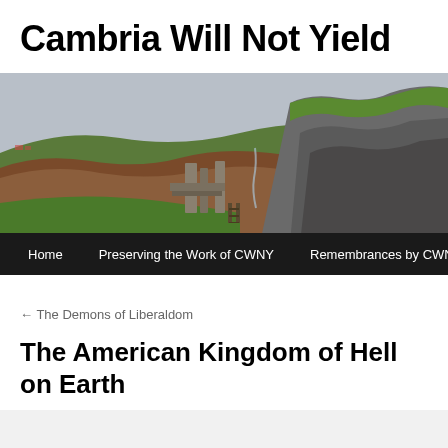Cambria Will Not Yield
[Figure (photo): Panoramic photograph of a ruined medieval castle on rocky cliffs with rolling green and brown hillsides in the background. Ancient stone walls and towers are visible. Navigation bar at the bottom reads: Home | Preserving the Work of CWNY | Remembrances by CWNY]
← The Demons of Liberaldom
The American Kingdom of Hell on Earth